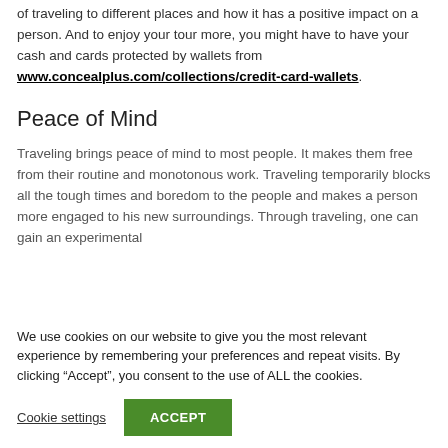of traveling to different places and how it has a positive impact on a person. And to enjoy your tour more, you might have to have your cash and cards protected by wallets from www.concealplus.com/collections/credit-card-wallets.
Peace of Mind
Traveling brings peace of mind to most people. It makes them free from their routine and monotonous work. Traveling temporarily blocks all the tough times and boredom to the people and makes a person more engaged to his new surroundings. Through traveling, one can gain an experimental
We use cookies on our website to give you the most relevant experience by remembering your preferences and repeat visits. By clicking “Accept”, you consent to the use of ALL the cookies.
Cookie settings  ACCEPT